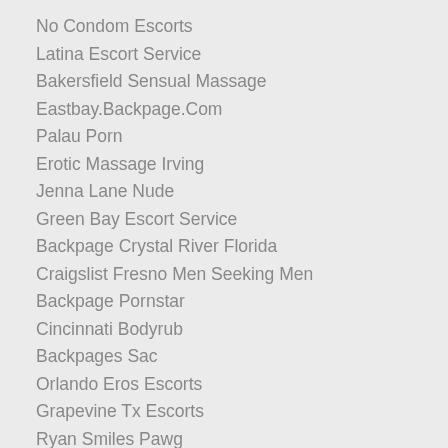No Condom Escorts
Latina Escort Service
Bakersfield Sensual Massage
Eastbay.Backpage.Com
Palau Porn
Erotic Massage Irving
Jenna Lane Nude
Green Bay Escort Service
Backpage Crystal River Florida
Craigslist Fresno Men Seeking Men
Backpage Pornstar
Cincinnati Bodyrub
Backpages Sac
Orlando Eros Escorts
Grapevine Tx Escorts
Ryan Smiles Pawg
Columbus Backp...